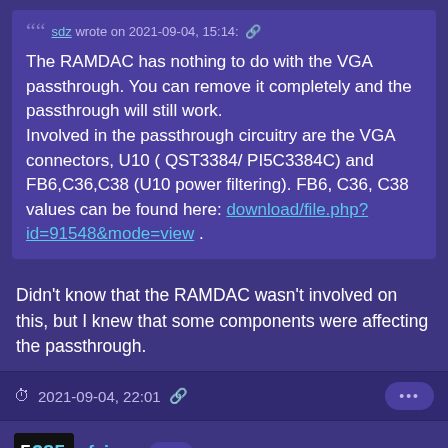sdz wrote on 2021-09-04, 15:14: The RAMDAC has nothing to do with the VGA passthrough. You can remove it completely and the passthrough will still work. Involved in the passthrough circuitry are the VGA connectors, U10 ( QST3384/ PI5C3384C) and FB6,C36,C38 (U10 power filtering). FB6, C36, C38 values can be found here: download/file.php?id=91548&mode=view .
Didn't know that the RAMDAC wasn't involved on this, but I knew that some components were affecting the passthrough.
2021-09-04, 22:01
feipoa l33t++